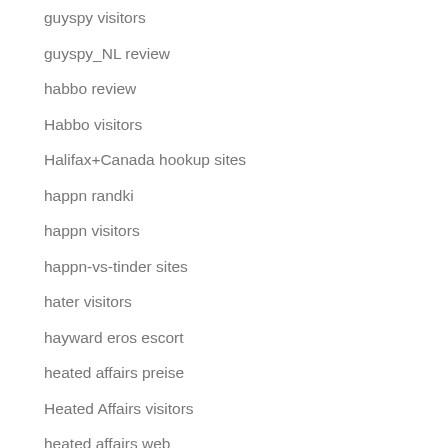guyspy visitors
guyspy_NL review
habbo review
Habbo visitors
Halifax+Canada hookup sites
happn randki
happn visitors
happn-vs-tinder sites
hater visitors
hayward eros escort
heated affairs preise
Heated Affairs visitors
heated affairs web
heated-affairs-inceleme reviews
heated-affairs-recenze MobilnГ strГЎnka